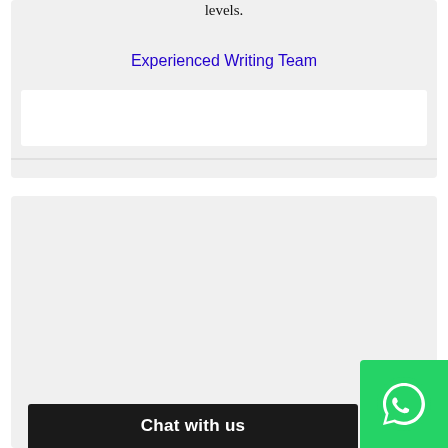levels.
Experienced Writing Team
Fast and Reliable
Our writers are capable of handling any assignment with short deadline and deliver without any delay, thus saving you time and energy
24/7 Team of Writers
Chat with us